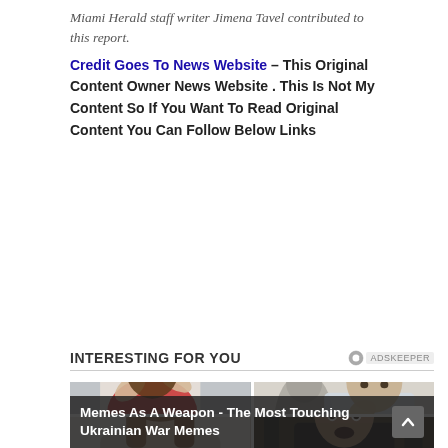Miami Herald staff writer Jimena Tavel contributed to this report.
Credit Goes To News Website – This Original Content Owner News Website . This Is Not My Content So If You Want To Read Original Content You Can Follow Below Links
INTERESTING FOR YOU
[Figure (photo): Grid of four photos: top-left woman covering face with hands, top-right man with hand to chin looking serious, bottom-left woman looking down, bottom-right man with surprised/intense expression indoors.]
Memes As A Weapon - The Most Touching Ukrainian War Memes